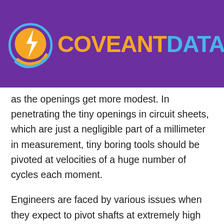[Figure (logo): Coveant Data logo with purple background, lightning bolt icon in a circular emblem, orange 'COVEANT' and blue 'DATA' text]
as the openings get more modest. In penetrating the tiny openings in circuit sheets, which are just a negligible part of a millimeter in measurement, tiny boring tools should be pivoted at velocities of a huge number of cycles each moment.
Engineers are faced by various issues when they expect to pivot shafts at extremely high paces. One of these is to limit the energy lost in the rubbing of the heading and scattered as hotness. As gases have far lower consistency than fluids, a course greased up via air will consume significantly less energy than when greased up by even the lightest greasing up oil. So there was a conspicuous benefit in attempting to foster air orientation for application to fast penetrating machines